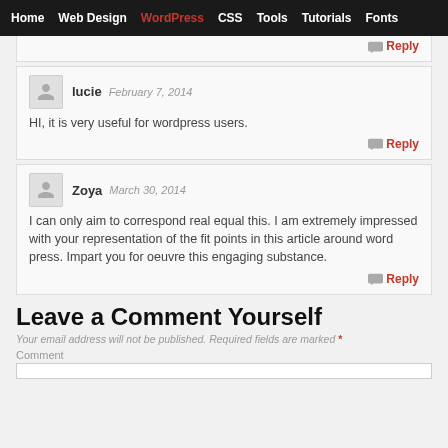Home  Web Design  WordPress  CSS  Tools  Tutorials  Fonts
Reply
lucie  February 7, 2014
HI, it is very useful for wordpress users.
Reply
Zoya  March 30, 2014
I can only aim to correspond real equal this. I am extremely impressed with your representation of the fit points in this article around word press. Impart you for oeuvre this engaging substance.
Reply
Leave a Comment Yourself
Your email address will not be published. Required fields are marked *
Comment